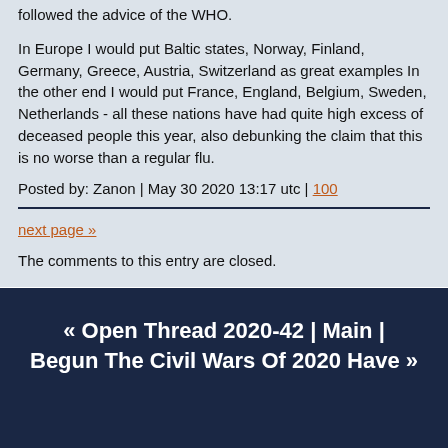followed the advice of the WHO.
In Europe I would put Baltic states, Norway, Finland, Germany, Greece, Austria, Switzerland as great examples In the other end I would put France, England, Belgium, Sweden, Netherlands - all these nations have had quite high excess of deceased people this year, also debunking the claim that this is no worse than a regular flu.
Posted by: Zanon | May 30 2020 13:17 utc | 100
next page »
The comments to this entry are closed.
« Open Thread 2020-42 | Main | Begun The Civil Wars Of 2020 Have »